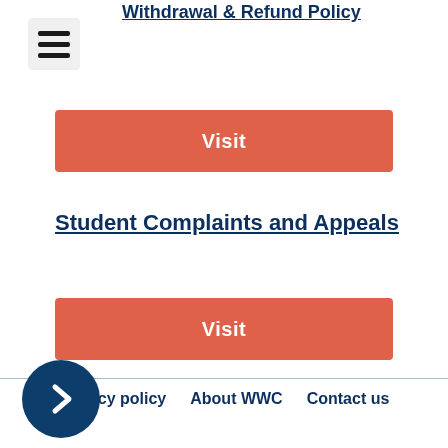Withdrawal & Refund Policy
[Figure (other): Hamburger menu icon with three horizontal lines]
Visit
Student Complaints and Appeals
Visit
Privacy policy   About WWC   Contact us
[Figure (other): Dark blue circular next/arrow button pointing right]